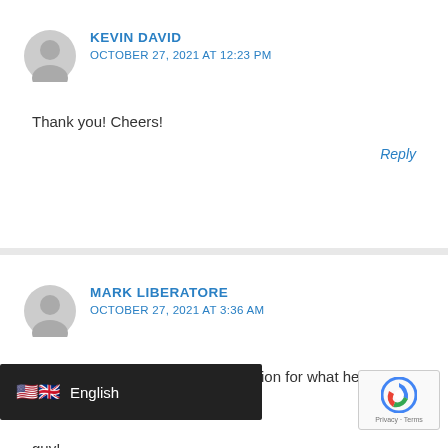KEVIN DAVID
OCTOBER 27, 2021 AT 12:23 PM
Thank you! Cheers!
Reply
MARK LIBERATORE
OCTOBER 27, 2021 AT 3:36 AM
Wow! Super high energy and passion for what he does! Great guy!
ions. Thanks David!
English